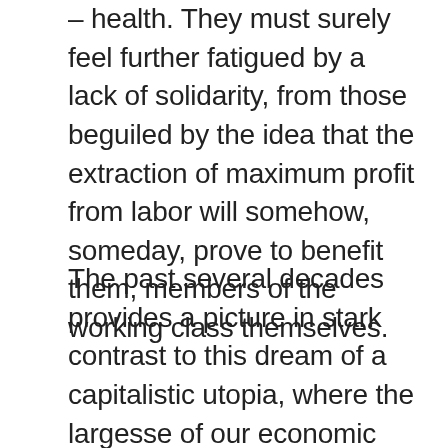– health. They must surely feel further fatigued by a lack of solidarity, from those beguiled by the idea that the extraction of maximum profit from labor will somehow, someday, prove to benefit them, members of the working class themselves.
The past several decades provides a picture in stark contrast to this dream of a capitalistic utopia, where the largesse of our economic plutocrats remains stubbornly unforthcoming. Rather, workers have endured years of slow wage growth – especially galling in the light of soaring inequality.